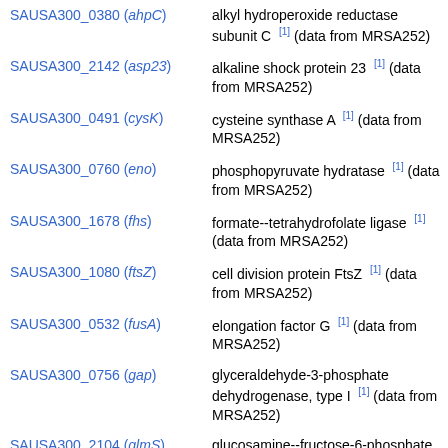| Gene | Description |
| --- | --- |
| SAUSA300_0380 (ahpC) | alkyl hydroperoxide reductase subunit C [1] (data from MRSA252) |
| SAUSA300_2142 (asp23) | alkaline shock protein 23 [1] (data from MRSA252) |
| SAUSA300_0491 (cysK) | cysteine synthase A [1] (data from MRSA252) |
| SAUSA300_0760 (eno) | phosphopyruvate hydratase [1] (data from MRSA252) |
| SAUSA300_1678 (fhs) | formate--tetrahydrofolate ligase [1] (data from MRSA252) |
| SAUSA300_1080 (ftsZ) | cell division protein FtsZ [1] (data from MRSA252) |
| SAUSA300_0532 (fusA) | elongation factor G [1] (data from MRSA252) |
| SAUSA300_0756 (gap) | glyceraldehyde-3-phosphate dehydrogenase, type I [1] (data from MRSA252) |
| SAUSA300_2104 (glmS) | glucosamine--fructose-6-phosphate aminotransferase [1] (data from MRSA252) |
| SAUSA300_1201 (glnA) | glutamine synthetase, type I [1] (data from MRSA252) |